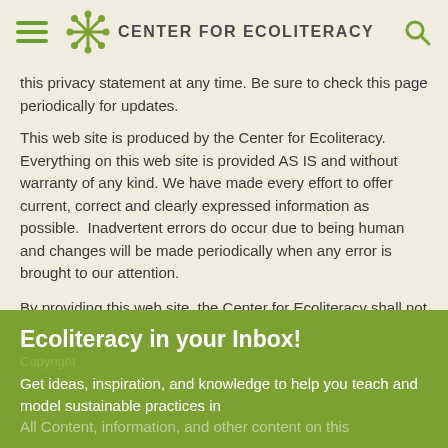CENTER FOR ECOLITERACY
this privacy statement at any time. Be sure to check this page periodically for updates.
This web site is produced by the Center for Ecoliteracy. Everything on this web site is provided AS IS and without warranty of any kind. We have made every effort to offer current, correct and clearly expressed information as possible.  Inadvertent errors do occur due to being human and changes will be made periodically when any error is brought to our attention.
By providing this web site, the Center for Ecoliteracy shall not be held liable, or undertake any responsibility whatsoever, for the content of linked sites, messages, articles, etc.
Ecoliteracy in your Inbox!
Copyright
Get ideas, inspiration, and knowledge to help you teach and model sustainable practices in